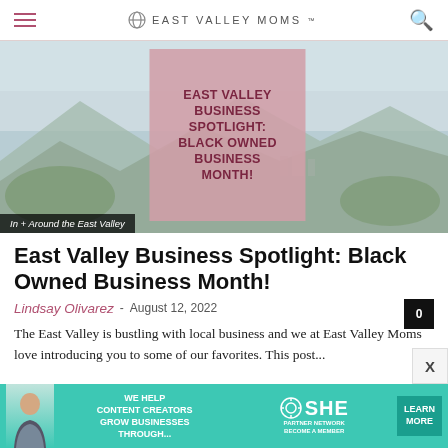EAST VALLEY MOMS
[Figure (photo): Hero image of East Valley landscape with a pink overlay box reading 'EAST VALLEY BUSINESS SPOTLIGHT: BLACK OWNED BUSINESS MONTH!' and a dark tag 'In + Around the East Valley']
East Valley Business Spotlight: Black Owned Business Month!
Lindsay Olivarez - August 12, 2022
The East Valley is bustling with local business and we at East Valley Moms love introducing you to some of our favorites. This post...
[Figure (infographic): Advertisement banner: 'WE HELP CONTENT CREATORS GROW BUSINESSES THROUGH...' with SHE Partner Network logo and LEARN MORE button]